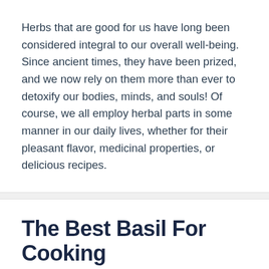Herbs that are good for us have long been considered integral to our overall well-being. Since ancient times, they have been prized, and we now rely on them more than ever to detoxify our bodies, minds, and souls! Of course, we all employ herbal parts in some manner in our daily lives, whether for their pleasant flavor, medicinal properties, or delicious recipes.
The Best Basil For Cooking
February 28, 2022 by Cullys Kitchen